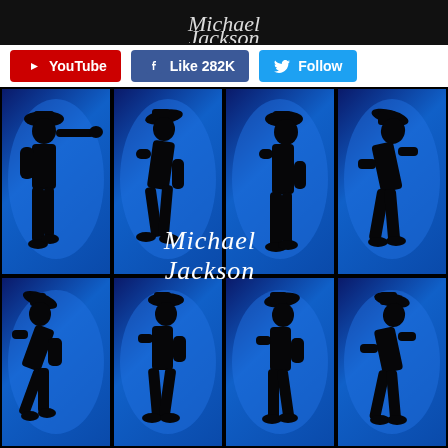[Figure (screenshot): Top header bar with YouTube, Facebook Like 282K, and Twitter Follow buttons on white background]
[Figure (photo): Michael Jackson silhouettes in various dance poses against blue illuminated panels background, arranged in a 4x2 grid. White cursive Michael Jackson signature logo overlaid in center.]